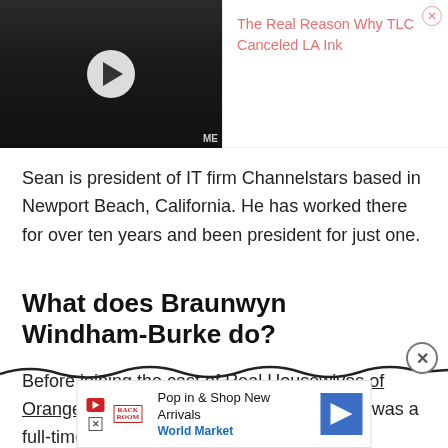[Figure (screenshot): Video thumbnail showing a woman with dark hair at an event with 'ERCY F NIMALS' and 'Y FOR ALS' backdrop, with a play button overlay and a pink ad panel on the right reading 'The Real Reason Why TLC Canceled LA Ink']
Sean is president of IT firm Channelstars based in Newport Beach, California. He has worked there for over ten years and been president for just one.
What does Braunwyn Windham-Burke do?
Before joining the cast of Real Housewives of Orange County, Braunwyn Windham-Burke was a full-time stay at home mom to her and Sean's seven kid
[Figure (screenshot): Bottom advertisement banner: Pop in & Shop New Arrivals, World Market, with play and close icons and a blue navigation arrow]